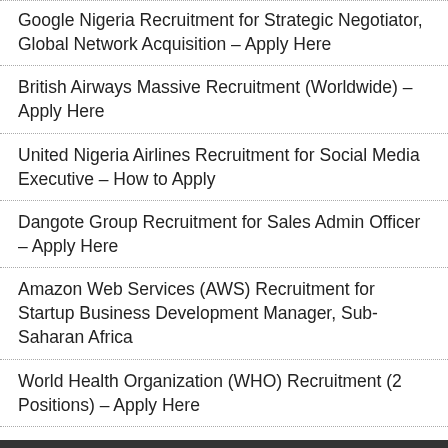Google Nigeria Recruitment for Strategic Negotiator, Global Network Acquisition – Apply Here
British Airways Massive Recruitment (Worldwide) – Apply Here
United Nigeria Airlines Recruitment for Social Media Executive – How to Apply
Dangote Group Recruitment for Sales Admin Officer – Apply Here
Amazon Web Services (AWS) Recruitment for Startup Business Development Manager, Sub-Saharan Africa
World Health Organization (WHO) Recruitment (2 Positions) – Apply Here